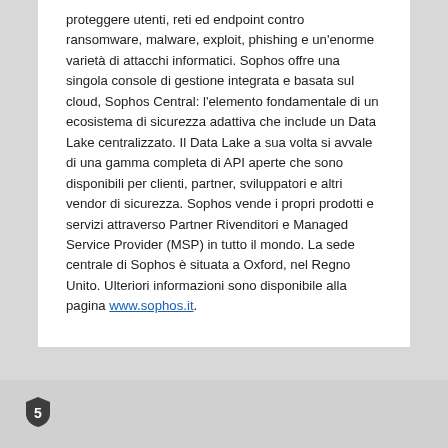proteggere utenti, reti ed endpoint contro ransomware, malware, exploit, phishing e un'enorme varietà di attacchi informatici. Sophos offre una singola console di gestione integrata e basata sul cloud, Sophos Central: l'elemento fondamentale di un ecosistema di sicurezza adattiva che include un Data Lake centralizzato. Il Data Lake a sua volta si avvale di una gamma completa di API aperte che sono disponibili per clienti, partner, sviluppatori e altri vendor di sicurezza. Sophos vende i propri prodotti e servizi attraverso Partner Rivenditori e Managed Service Provider (MSP) in tutto il mondo. La sede centrale di Sophos è situata a Oxford, nel Regno Unito. Ulteriori informazioni sono disponibile alla pagina www.sophos.it.
[Figure (logo): Sophos shield logo with letter S in dark grey/charcoal color]